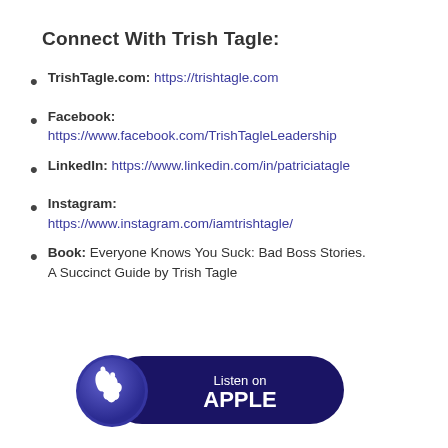Connect With Trish Tagle:
TrishTagle.com: https://trishtagle.com
Facebook: https://www.facebook.com/TrishTagleLeadership
LinkedIn: https://www.linkedin.com/in/patriciatagle
Instagram: https://www.instagram.com/iamtrishtagle/
Book: Everyone Knows You Suck: Bad Boss Stories. A Succinct Guide by Trish Tagle
[Figure (logo): Listen on Apple Podcasts badge with purple Apple logo circle and dark navy pill shape with 'Listen on APPLE' text]